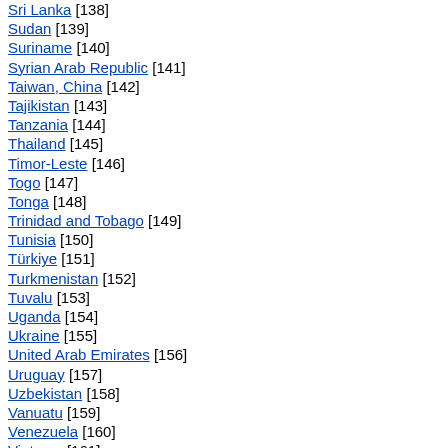Sri Lanka [138]
Sudan [139]
Suriname [140]
Syrian Arab Republic [141]
Taiwan, China [142]
Tajikistan [143]
Tanzania [144]
Thailand [145]
Timor-Leste [146]
Togo [147]
Tonga [148]
Trinidad and Tobago [149]
Tunisia [150]
Türkiye [151]
Turkmenistan [152]
Tuvalu [153]
Uganda [154]
Ukraine [155]
United Arab Emirates [156]
Uruguay [157]
Uzbekistan [158]
Vanuatu [159]
Venezuela [160]
Vietnam [161]
Yemen [162]
Zambia [163]